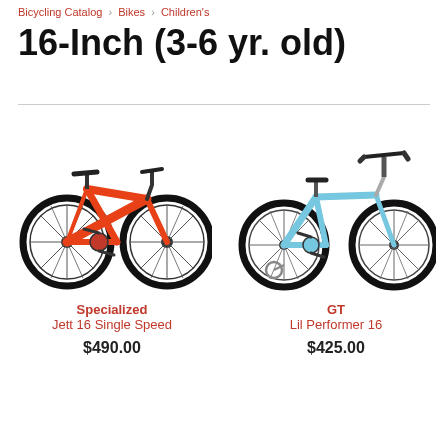Bicycling Catalog > Bikes > Children's
16-Inch (3-6 yr. old)
[Figure (photo): Orange Specialized Jett 16 Single Speed children's bicycle]
Specialized
Jett 16 Single Speed
$490.00
[Figure (photo): Light blue GT Lil Performer 16 children's BMX bicycle]
GT
Lil Performer 16
$425.00